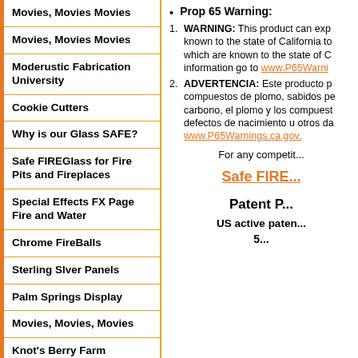Movies, Movies Movies
Movies, Movies Movies
Moderustic Fabrication University
Cookie Cutters
Why is our Glass SAFE?
Safe FIREGlass for Fire Pits and Fireplaces
Special Effects FX Page Fire and Water
Chrome FireBalls
Sterling Slver Panels
Palm Springs Display
Movies, Movies, Movies
Knot's Berry Farm
Hard Rock Hotel and Casino Fire Features
Prop 65 Warning:
WARNING: This product can exp... known to the state of California to... which are known to the state of C... information go to www.P65Warni...
ADVERTENCIA: Este producto p... compuestos de plomo, sabidos pe... carbono, el plomo y los compuest... defectos de nacimiento u otros da... www.P65Warnings.ca.gov.
For any competit...
Safe FIRE...
Patent P...
US active paten...
5...